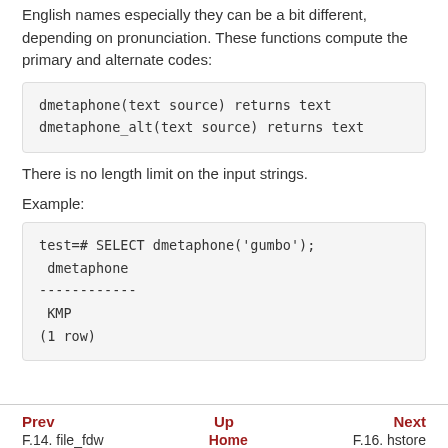English names especially they can be a bit different, depending on pronunciation. These functions compute the primary and alternate codes:
There is no length limit on the input strings.
Example:
Prev   Up   Next
F.14. file_fdw   Home   F.16. hstore